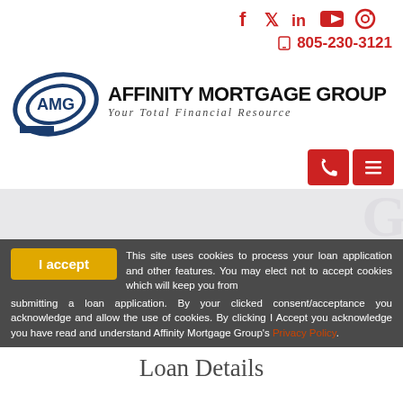[Figure (logo): Social media icons (Facebook, Twitter, LinkedIn, YouTube, Instagram) in red, aligned right]
805-230-3121
[Figure (logo): Affinity Mortgage Group logo with AMG circular emblem and company name text]
[Figure (other): Two red action buttons: phone icon and hamburger menu icon]
[Figure (other): Gray hero banner area with faded watermark logo]
I accept
This site uses cookies to process your loan application and other features. You may elect not to accept cookies which will keep you from submitting a loan application. By your clicked consent/acceptance you acknowledge and allow the use of cookies. By clicking I Accept you acknowledge you have read and understand Affinity Mortgage Group's Privacy Policy.
Loan Details